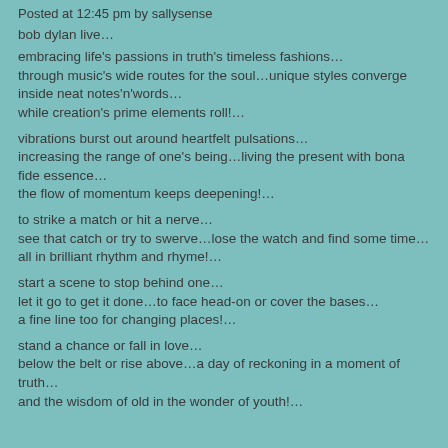Posted at 12:45 pm by sallysense
bob dylan live…
embracing life's passions in truth's timeless fashions…
through music's wide routes for the soul…unique styles converge inside neat notes'n'words…
while creation's prime elements roll!…
vibrations burst out around heartfelt pulsations…
increasing the range of one's being…living the present with bona fide essence…
the flow of momentum keeps deepening!…
to strike a match or hit a nerve…
see that catch or try to swerve…lose the watch and find some time…
all in brilliant rhythm and rhyme!…
start a scene to stop behind one…
let it go to get it done…to face head-on or cover the bases…
a fine line too for changing places!…
stand a chance or fall in love…
below the belt or rise above…a day of reckoning in a moment of truth…
and the wisdom of old in the wonder of youth!…